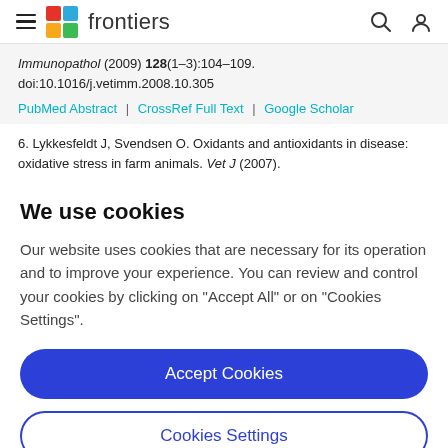frontiers
Immunopathol (2009) 128(1–3):104–109. doi:10.1016/j.vetimm.2008.10.305
PubMed Abstract | CrossRef Full Text | Google Scholar
6. Lykkesfeldt J, Svendsen O. Oxidants and antioxidants in disease: oxidative stress in farm animals. Vet J (2007).
We use cookies
Our website uses cookies that are necessary for its operation and to improve your experience. You can review and control your cookies by clicking on "Accept All" or on "Cookies Settings".
Accept Cookies
Cookies Settings